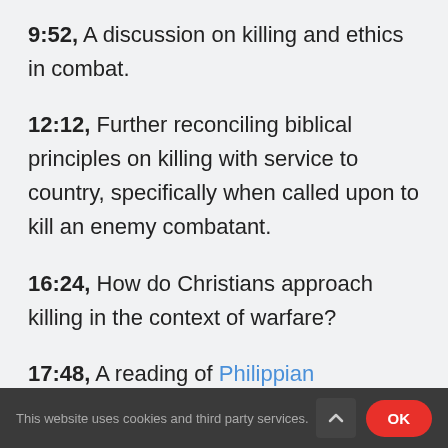9:52, A discussion on killing and ethics in combat.
12:12, Further reconciling biblical principles on killing with service to country, specifically when called upon to kill an enemy combatant.
16:24, How do Christians approach killing in the context of warfare?
17:48, A reading of Philippians…
This website uses cookies and third party services.